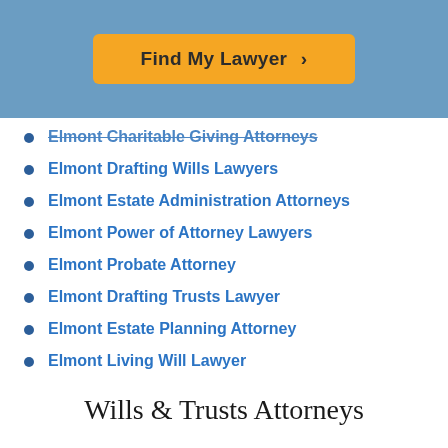[Figure (other): Blue header banner with orange 'Find My Lawyer >' button]
Elmont Charitable Giving Attorneys
Elmont Drafting Wills Lawyers
Elmont Estate Administration Attorneys
Elmont Power of Attorney Lawyers
Elmont Probate Attorney
Elmont Drafting Trusts Lawyer
Elmont Estate Planning Attorney
Elmont Living Will Lawyer
Wills & Trusts Attorneys